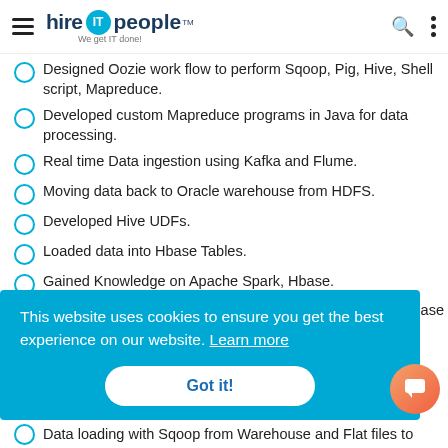hire IT people — We get IT done!
Designed Oozie work flow to perform Sqoop, Pig, Hive, Shell script, Mapreduce.
Developed custom Mapreduce programs in Java for data processing.
Real time Data ingestion using Kafka and Flume.
Moving data back to Oracle warehouse from HDFS.
Developed Hive UDFs.
Loaded data into Hbase Tables.
Gained Knowledge on Apache Spark, Hbase.
This website uses cookies to ensure you get the best experience on our website. Learn more
Got it!
Data loading with Sqoop from Warehouse and Flat files to...